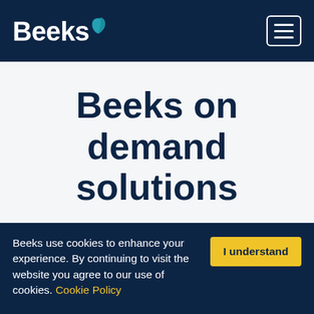[Figure (logo): Beeks logo — white bold text 'Beeks' with a teal leaf icon on dark navy header bar, with a hamburger menu icon (three white lines in a rounded rectangle) on the right]
Beeks on demand solutions
Beeks use cookies to enhance your experience. By continuing to visit the website you agree to our use of cookies. Cookie Policy